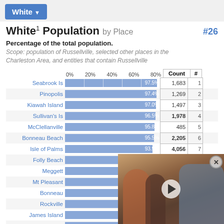White Population by Place #26
Percentage of the total population.
Scope: population of Russellville, selected other places in the Charleston Area, and entities that contain Russellville
[Figure (bar-chart): White Population by Place]